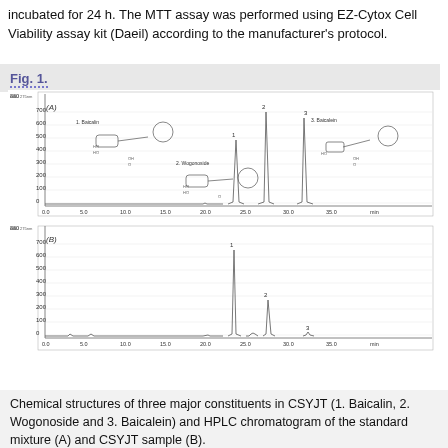incubated for 24 h. The MTT assay was performed using EZ-Cytox Cell Viability assay kit (Daeil) according to the manufacturer's protocol.
Fig. 1.
[Figure (other): Two-panel HPLC chromatogram figure. Panel (A) shows HPLC chromatogram of standard mixture with chemical structures of three major constituents labeled: 1. Baicalin, 2. Wogonoside, 3. Baicalein, with peaks labeled 1, 2, 3 at approximately 25, 27, and 30 minutes. Panel (B) shows HPLC chromatogram of CSYJT sample with peaks labeled 1, 2, 3 at similar retention times. Both panels show x-axis from 0 to ~40 min and y-axis from 0 to ~800 mAU at 275nm.]
Chemical structures of three major constituents in CSYJT (1. Baicalin, 2. Wogonoside and 3. Baicalein) and HPLC chromatogram of the standard mixture (A) and CSYJT sample (B).